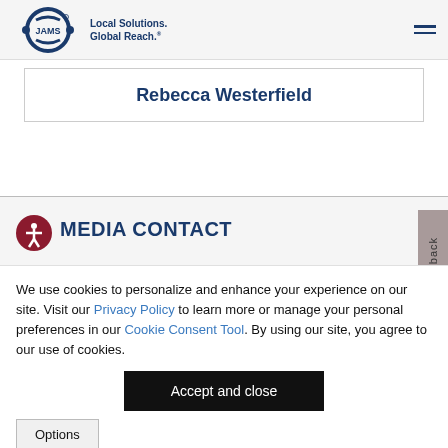JAMS - Local Solutions. Global Reach.
Rebecca Westerfield
MEDIA CONTACT
We use cookies to personalize and enhance your experience on our site. Visit our Privacy Policy to learn more or manage your personal preferences in our Cookie Consent Tool. By using our site, you agree to our use of cookies.
Accept and close
Options